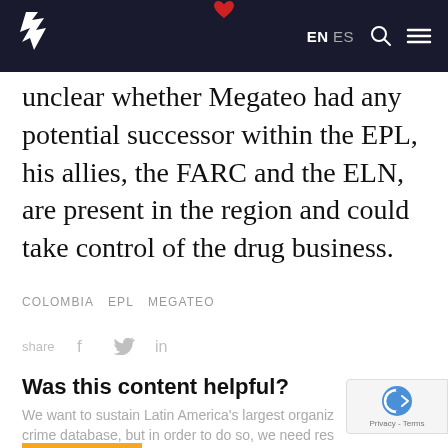EN ES [search] [menu]
unclear whether Megateo had any potential successor within the EPL, his allies, the FARC and the ELN, are present in the region and could take control of the drug business.
COLOMBIA   EPL   MEGATEO
share
Was this content helpful?
We want to sustain Latin America's largest organized crime database, but in order to do so, we need res…